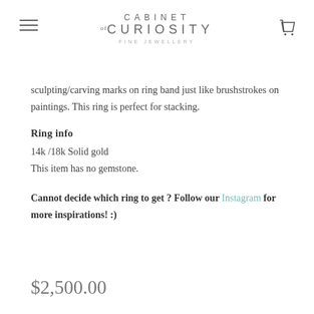CABINET of CURIOSITY FINE JEWELLERY
sculpting/carving marks on ring band just like brushstrokes on paintings. This ring is perfect for stacking.
Ring info
14k /18k Solid gold
This item has no gemstone.
Cannot decide which ring to get ? Follow our Instagram for more inspirations! :)
$2,500.00